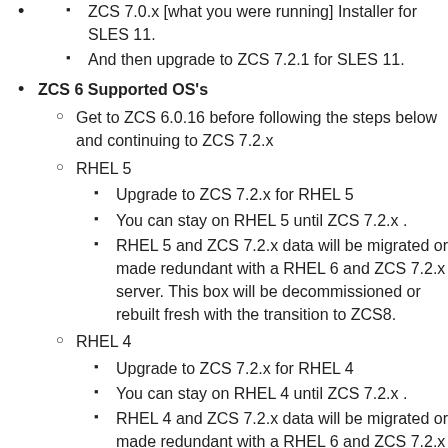ZCS 7.0.x [what you were running] Installer for SLES 11.
And then upgrade to ZCS 7.2.1 for SLES 11.
ZCS 6 Supported OS's
Get to ZCS 6.0.16 before following the steps below and continuing to ZCS 7.2.x
RHEL 5
Upgrade to ZCS 7.2.x for RHEL 5
You can stay on RHEL 5 until ZCS 7.2.x .
RHEL 5 and ZCS 7.2.x data will be migrated or made redundant with a RHEL 6 and ZCS 7.2.x server. This box will be decommissioned or rebuilt fresh with the transition to ZCS8.
RHEL 4
Upgrade to ZCS 7.2.x for RHEL 4
You can stay on RHEL 4 until ZCS 7.2.x .
RHEL 4 and ZCS 7.2.x data will be migrated or made redundant with a RHEL 6 and ZCS 7.2.x server. This box will be decommissioned or rebuilt fresh...